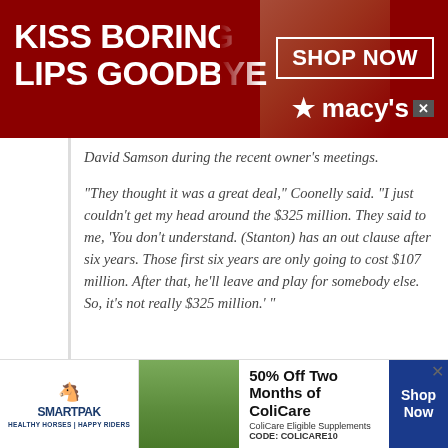[Figure (photo): Advertisement banner: 'KISS BORING LIPS GOODBYE' with a woman's face with red lips, Macy's logo and SHOP NOW button on dark red background]
David Samson during the recent owner's meetings.
“They thought it was a great deal,” Coonelly said. “I just couldn’t get my head around the $325 million. They said to me, ‘You don’t understand. (Stanton) has an out clause after six years. Those first six years are only going to cost $107 million. After that, he’ll leave and play for somebody else. So, it’s not really $325 million.’ ”
It would hardly be anything shocking if Loria were to have this type of understanding. Loria is known for very frugal spending...
[Figure (photo): SmartPak advertisement: 50% Off Two Months of ColiCare, ColiCare Eligible Supplements CODE: COLICARE10, Shop Now button]